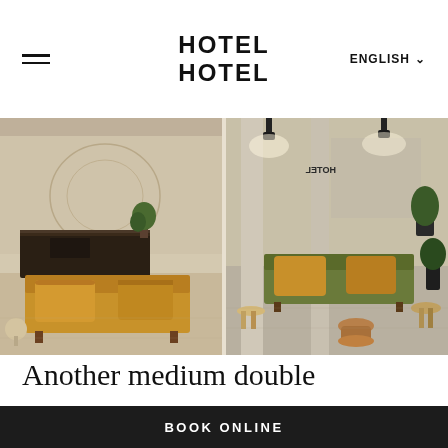HOTEL HOTEL   ENGLISH
[Figure (photo): Two hotel lobby/lounge photos side by side: left shows a reception desk with wall art and a mustard yellow sofa with cushions; right shows a seating area with green/olive sofa, mustard cushions, wooden stools and plants with pendant lighting.]
Another medium double
Lorem ipsum dolor sit amet, consectetur adipiscing elit. Duis ac tempor elit. Sed sed
BOOK ONLINE